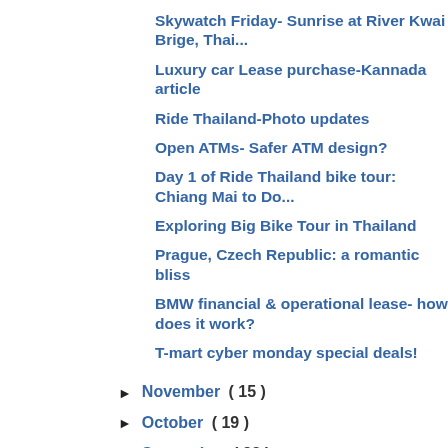Skywatch Friday- Sunrise at River Kwai Brige, Thai...
Luxury car Lease purchase-Kannada article
Ride Thailand-Photo updates
Open ATMs- Safer ATM design?
Day 1 of Ride Thailand bike tour: Chiang Mai to Do...
Exploring Big Bike Tour in Thailand
Prague, Czech Republic: a romantic bliss
BMW financial & operational lease- how does it work?
T-mart cyber monday special deals!
► November ( 15 )
► October ( 19 )
► September ( 23 )
► August ( 18 )
► July ( 13 )
► June ( 17 )
► May ( 18 )
► April ( 22 )